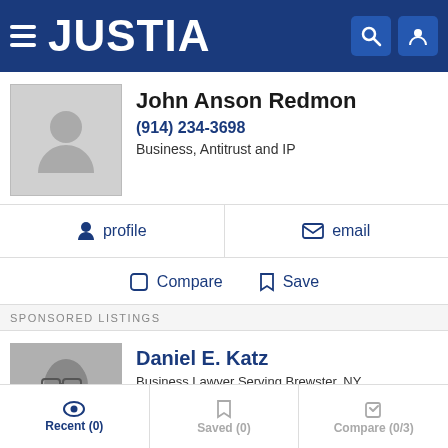JUSTIA
John Anson Redmon
(914) 234-3698
Business, Antitrust and IP
profile   email
Compare   Save
SPONSORED LISTINGS
Daniel E. Katz
Business Lawyer Serving Brewster, NY
(212) 684-0300
Recent (0)   Saved (0)   Compare (0/3)